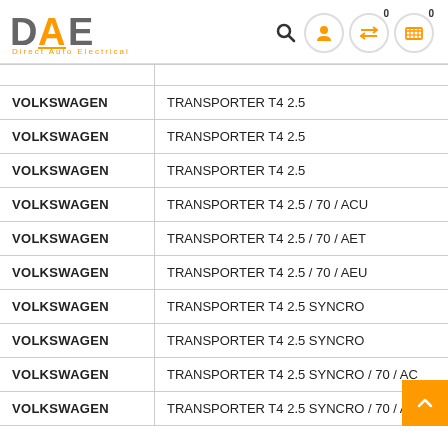DAE Direct Auto Electrical
| Make | Model |
| --- | --- |
| VOLKSWAGEN | TRANSPORTER T4 2.5 |
| VOLKSWAGEN | TRANSPORTER T4 2.5 |
| VOLKSWAGEN | TRANSPORTER T4 2.5 |
| VOLKSWAGEN | TRANSPORTER T4 2.5 / 70 / ACU |
| VOLKSWAGEN | TRANSPORTER T4 2.5 / 70 / AET |
| VOLKSWAGEN | TRANSPORTER T4 2.5 / 70 / AEU |
| VOLKSWAGEN | TRANSPORTER T4 2.5 SYNCRO |
| VOLKSWAGEN | TRANSPORTER T4 2.5 SYNCRO |
| VOLKSWAGEN | TRANSPORTER T4 2.5 SYNCRO / 70 / AC |
| VOLKSWAGEN | TRANSPORTER T4 2.5 SYNCRO / 70 / AE |